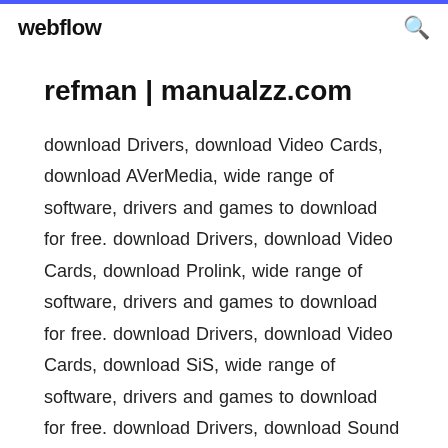webflow
refman | manualzz.com
download Drivers, download Video Cards, download AVerMedia, wide range of software, drivers and games to download for free. download Drivers, download Video Cards, download Prolink, wide range of software, drivers and games to download for free. download Drivers, download Video Cards, download SiS, wide range of software, drivers and games to download for free. download Drivers, download Sound Cards, download Nvidia, wide range of software, drivers and games to download for free. download Drivers,